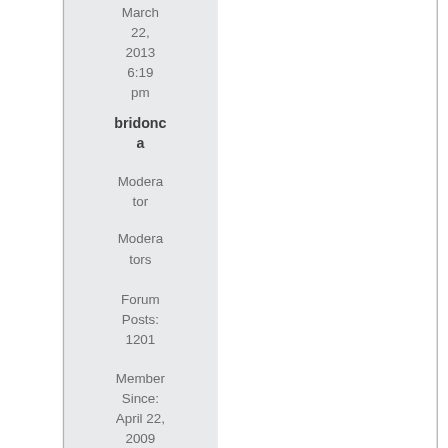March 22, 2013 6:19 pm
bridonca
Moderator
Moderators
Forum Posts: 1201
Member Since: April 22, 2009
[Figure (illustration): Orange circle offline indicator with minus symbol]
Offline
2
Speakout and Petro Canada are both run by Ztar, which lease cellular resources from Rogers.